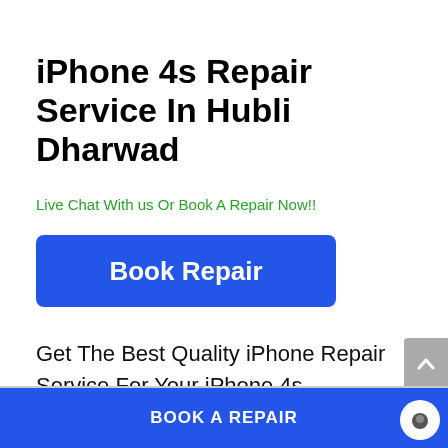iPhone 4s Repair Service In Hubli Dharwad
Live Chat With us Or Book A Repair Now!!
[Figure (other): Blue 'Book Repair' button]
Get The Best Quality iPhone Repair Service For Your iPhone 4s , anywhere in Hubli Dharwad at the most affordable cost.
BOOK A REPAIR